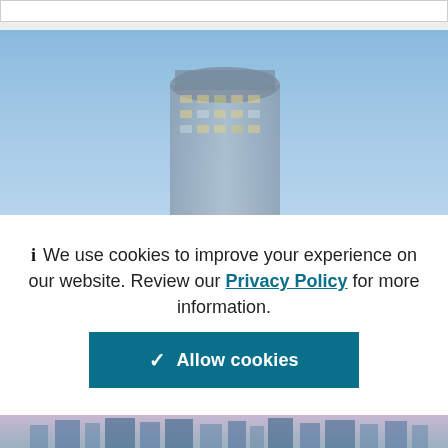[Figure (screenshot): Top navigation bar / search input field, white background with border]
[Figure (photo): Top of a glass skyscraper building against a clear blue sky, partially visible, slightly blurred/faded]
ℹ We use cookies to improve your experience on our website. Review our Privacy Policy for more information.
✓ Allow cookies
[Figure (photo): Bottom portion of city skyline with buildings at dusk, purple-pink sky]